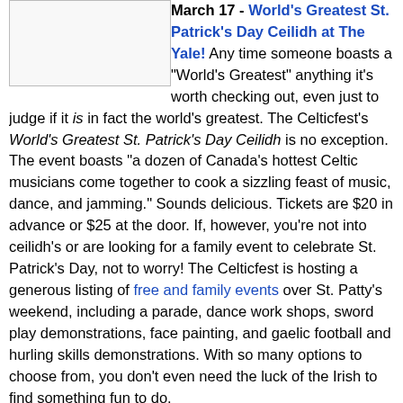March 17 - World's Greatest St. Patrick's Day Ceilidh at The Yale! Any time someone boasts a "World's Greatest" anything it's worth checking out, even just to judge if it is in fact the world's greatest. The Celticfest's World's Greatest St. Patrick's Day Ceilidh is no exception. The event boasts "a dozen of Canada's hottest Celtic musicians come together to cook a sizzling feast of music, dance, and jamming." Sounds delicious. Tickets are $20 in advance or $25 at the door. If, however, you're not into ceilidh's or are looking for a family event to celebrate St. Patrick's Day, not to worry! The Celticfest is hosting a generous listing of free and family events over St. Patty's weekend, including a parade, dance work shops, sword play demonstrations, face painting, and gaelic football and hurling skills demonstrations. With so many options to choose from, you don't even need the luck of the Irish to find something fun to do.
March 26 & 27- Thing to Thing: The Makeshift Project at